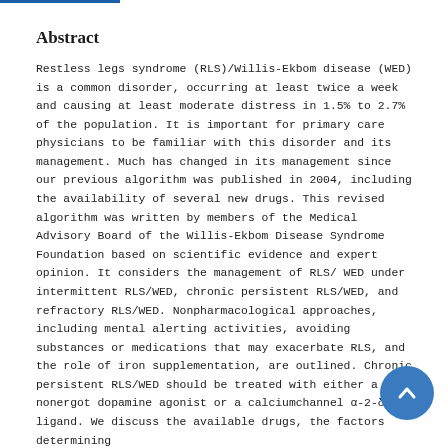Abstract
Restless legs syndrome (RLS)/Willis-Ekbom disease (WED) is a common disorder, occurring at least twice a week and causing at least moderate distress in 1.5% to 2.7% of the population. It is important for primary care physicians to be familiar with this disorder and its management. Much has changed in its management since our previous algorithm was published in 2004, including the availability of several new drugs. This revised algorithm was written by members of the Medical Advisory Board of the Willis-Ekbom Disease Syndrome Foundation based on scientific evidence and expert opinion. It considers the management of RLS/ WED under intermittent RLS/WED, chronic persistent RLS/WED, and refractory RLS/WED. Nonpharmacological approaches, including mental alerting activities, avoiding substances or medications that may exacerbate RLS, and the role of iron supplementation, are outlined. Chronic persistent RLS/WED should be treated with either a nonergot dopamine agonist or a calciumchannel α-2-δ ligand. We discuss the available drugs, the factors determining